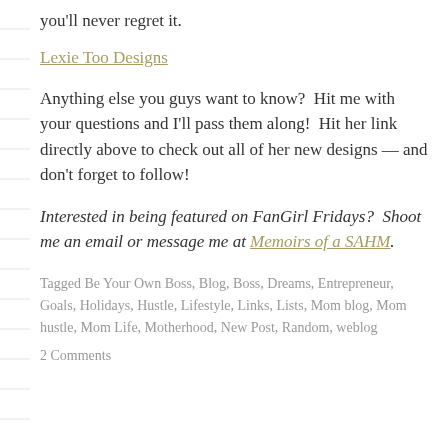you'll never regret it.
Lexie Too Designs
Anything else you guys want to know?  Hit me with your questions and I'll pass them along!  Hit her link directly above to check out all of her new designs — and don't forget to follow!
Interested in being featured on FanGirl Fridays?  Shoot me an email or message me at Memoirs of a SAHM.
Tagged Be Your Own Boss, Blog, Boss, Dreams, Entrepreneur, Goals, Holidays, Hustle, Lifestyle, Links, Lists, Mom blog, Mom hustle, Mom Life, Motherhood, New Post, Random, weblog
2 Comments